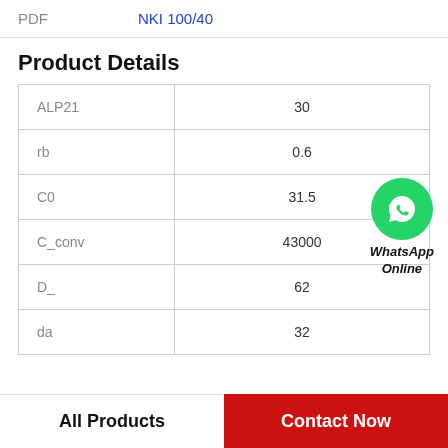PDF   NKI 100/40
Product Details
| ALP21 | 30 |
| rb | 0.6 |
| C0 | 31.5 |
| C_conv | 43000 |
| D_ | 62 |
| da | 32 |
[Figure (logo): WhatsApp Online green circle logo with text 'WhatsApp Online']
All Products
Contact Now